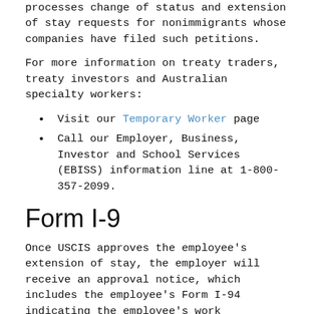processes change of status and extension of stay requests for nonimmigrants whose companies have filed such petitions.
For more information on treaty traders, treaty investors and Australian specialty workers:
Visit our Temporary Worker page
Call our Employer, Business, Investor and School Services (EBISS) information line at 1-800-357-2099.
Form I-9
Once USCIS approves the employee’s extension of stay, the employer will receive an approval notice, which includes the employee’s Form I-94 indicating the employee’s work authorized nonimmigrant status.  The employer should give the Form I-94/I-94A to the employee. In Section 1 of Form I-9, the employee in E status should check “An alien authorized to work” and write the Admission number and expiration date of his or her status as indicated on Form I-94 in the space provided. The employee’s unexpired Form I-94/I-94A together with his or her unexpired foreign passport are acceptable for Form I-9purposes as a List A